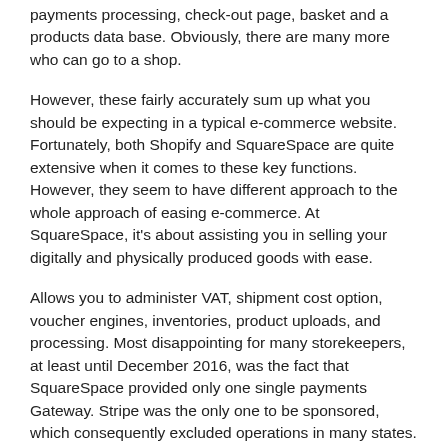payments processing, check-out page, basket and a products data base. Obviously, there are many more who can go to a shop.
However, these fairly accurately sum up what you should be expecting in a typical e-commerce website. Fortunately, both Shopify and SquareSpace are quite extensive when it comes to these key functions. However, they seem to have different approach to the whole approach of easing e-commerce. At SquareSpace, it's about assisting you in selling your digitally and physically produced goods with ease.
Allows you to administer VAT, shipment cost option, voucher engines, inventories, product uploads, and processing. Most disappointing for many storekeepers, at least until December 2016, was the fact that SquareSpace provided only one single payments Gateway. Stripe was the only one to be sponsored, which consequently excluded operations in many states.
But SquareSpace finally came to its logical conclusion and implemented PayPal. All right, but it still lags behind Shopify in making payments easier. See, Shopify has been in the trade for over a ten year period. You know that 6% of the wagons